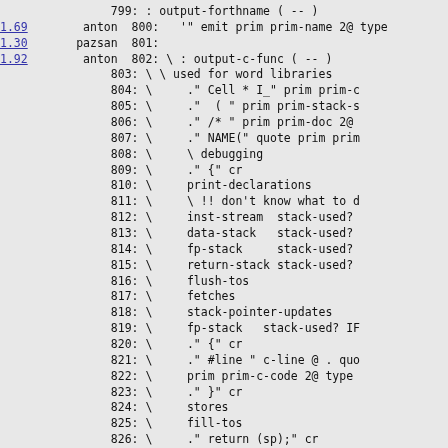Code listing lines 799-828 with annotations: 1.69 anton, 1.30 pazsan, 1.92 anton. Lines show Forth/C source code for output-forthname and output-c-func words.